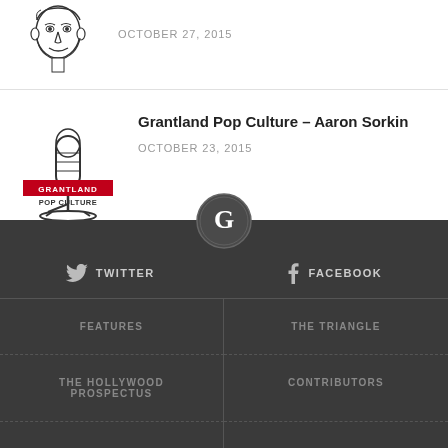[Figure (illustration): Partial view of a cartoon/caricature illustration, cropped at top]
OCTOBER 27, 2015
[Figure (logo): Grantland Pop Culture podcast logo — microphone graphic with 'GRANTLAND POP CULTURE' text]
Grantland Pop Culture – Aaron Sorkin
OCTOBER 23, 2015
[Figure (logo): Grantland 'G' circular logo in footer]
TWITTER
FACEBOOK
FEATURES
THE TRIANGLE
THE HOLLYWOOD PROSPECTUS
CONTRIBUTORS